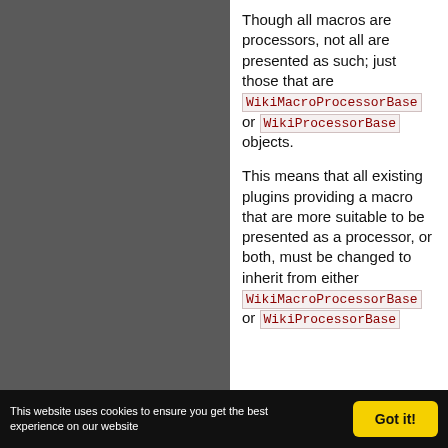Though all macros are processors, not all are presented as such; just those that are WikiMacroProcessorBase or WikiProcessorBase objects.

This means that all existing plugins providing a macro that are more suitable to be presented as a processor, or both, must be changed to inherit from either WikiMacroProcessorBase or WikiProcessorBase
This website uses cookies to ensure you get the best experience on our website